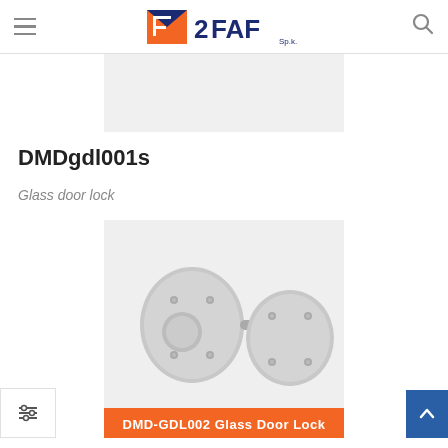2FAF Sp.k. — navigation header with hamburger menu, logo, and search icon
[Figure (photo): Partial/cropped product image at the top, light gray placeholder background]
DMDgdl001s
Glass door lock
[Figure (photo): Photo of a glass door lock set (DMD-GDL002) showing two oval-shaped lock components in silver/gray color with a connecting bar, on a light gray background. Orange label at bottom reads: DMD-GDL002 Glass Door Lock]